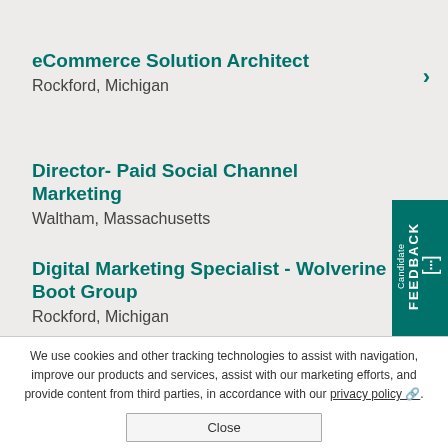eCommerce Solution Architect
Rockford, Michigan
Director- Paid Social Channel Marketing
Waltham, Massachusetts
Digital Marketing Specialist - Wolverine Boot Group
Rockford, Michigan
We use cookies and other tracking technologies to assist with navigation, improve our products and services, assist with our marketing efforts, and provide content from third parties, in accordance with our privacy policy.
Close